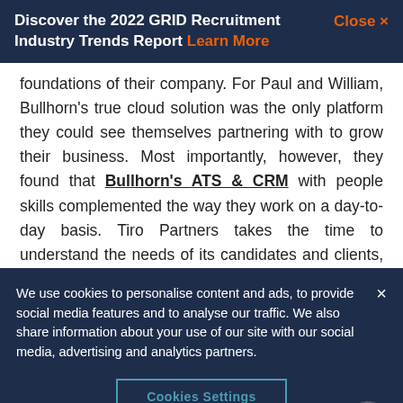Discover the 2022 GRID Recruitment Industry Trends Report Learn More  Close ×
foundations of their company. For Paul and William, Bullhorn's true cloud solution was the only platform they could see themselves partnering with to grow their business. Most importantly, however, they found that Bullhorn's ATS & CRM with people skills complemented the way they work on a day-to-day basis. Tiro Partners takes the time to understand the needs of its candidates and clients, and Bullhorn's
We use cookies to personalise content and ads, to provide social media features and to analyse our traffic. We also share information about your use of our site with our social media, advertising and analytics partners.
Cookies Settings